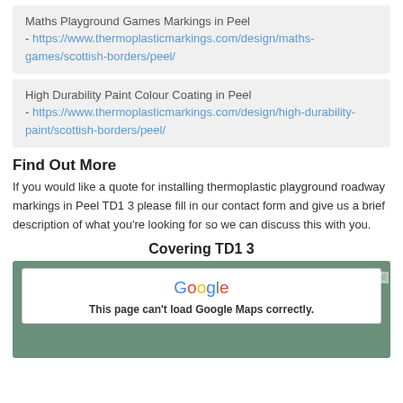Maths Playground Games Markings in Peel - https://www.thermoplasticmarkings.com/design/maths-games/scottish-borders/peel/
High Durability Paint Colour Coating in Peel - https://www.thermoplasticmarkings.com/design/high-durability-paint/scottish-borders/peel/
Find Out More
If you would like a quote for installing thermoplastic playground roadway markings in Peel TD1 3 please fill in our contact form and give us a brief description of what you're looking for so we can discuss this with you.
Covering TD1 3
[Figure (screenshot): Google Maps embed showing an error message: 'This page can't load Google Maps correctly.' with the Google logo displayed above.]